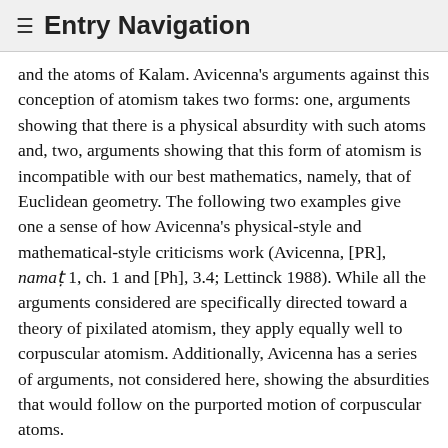≡ Entry Navigation
and the atoms of Kalam. Avicenna's arguments against this conception of atomism takes two forms: one, arguments showing that there is a physical absurdity with such atoms and, two, arguments showing that this form of atomism is incompatible with our best mathematics, namely, that of Euclidean geometry. The following two examples give one a sense of how Avicenna's physical-style and mathematical-style criticisms work (Avicenna, [PR], namaṭ 1, ch. 1 and [Ph], 3.4; Lettinck 1988). While all the arguments considered are specifically directed toward a theory of pixilated atomism, they apply equally well to corpuscular atomism. Additionally, Avicenna has a series of arguments, not considered here, showing the absurdities that would follow on the purported motion of corpuscular atoms.
While some of Avicenna's physical-style arguments are quite complex and sophisticated, showing that the aggregation of bodies would simply be impossible on the Kalām atomists' view (an example can be found in Section 2.3 of the entry on Arabic and Islamic natural